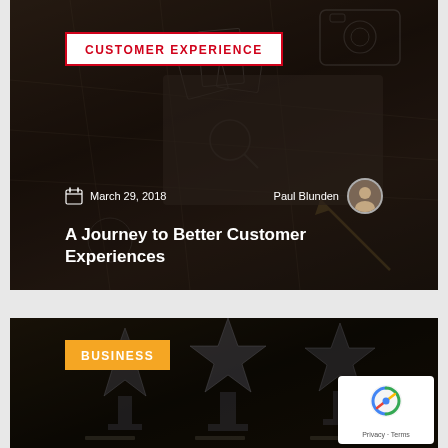[Figure (photo): Blog card with dark background showing map, camera, photos and pen. Category badge 'CUSTOMER EXPERIENCE' in white box with red border and red text. Date 'March 29, 2018', author 'Paul Blunden' with avatar, and title 'A Journey to Better Customer Experiences' in white text.]
A Journey to Better Customer Experiences
[Figure (photo): Blog card with dark background showing crystal star trophies. Category badge 'BUSINESS' in orange/yellow background with white text.]